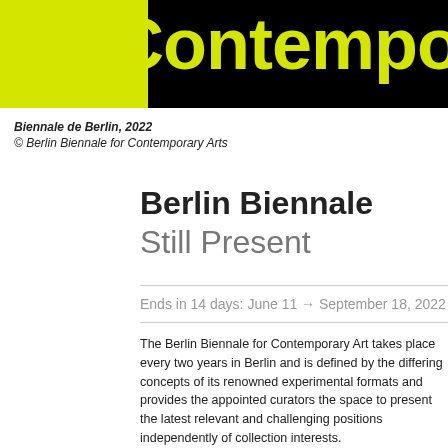[Figure (other): Header banner with black background and yellow-green block on left, displaying 'for Contemporary Art' in large yellow-green bold text]
for Contemporary Art
Biennale de Berlin, 2022
© Berlin Biennale for Contemporary Arts
Berlin Biennale
Still Present
Ends in 14 days: June 11 → September 18, 2022
The Berlin Biennale for Contemporary Art takes place every two years in Berlin and is defined by the differing concepts of its renowned experimental formats and provides the appointed curators the space to present the latest relevant and challenging positions independently of collection interests.
Each edition brings together artists, theorists, and practitioners and lets them enter into a dialogue with the city of Berlin and its public. The city is continuously under change thus remaining fragmented, diverse,